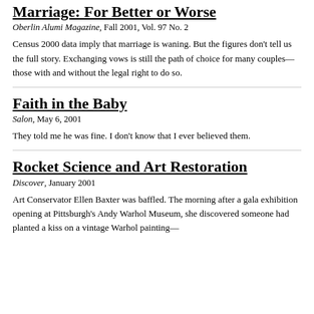Marriage: For Better or Worse
Oberlin Alumi Magazine, Fall 2001, Vol. 97 No. 2
Census 2000 data imply that marriage is waning. But the figures don't tell us the full story. Exchanging vows is still the path of choice for many couples—those with and without the legal right to do so.
Faith in the Baby
Salon, May 6, 2001
They told me he was fine. I don't know that I ever believed them.
Rocket Science and Art Restoration
Discover, January 2001
Art Conservator Ellen Baxter was baffled. The morning after a gala exhibition opening at Pittsburgh's Andy Warhol Museum, she discovered someone had planted a kiss on a vintage Warhol painting—